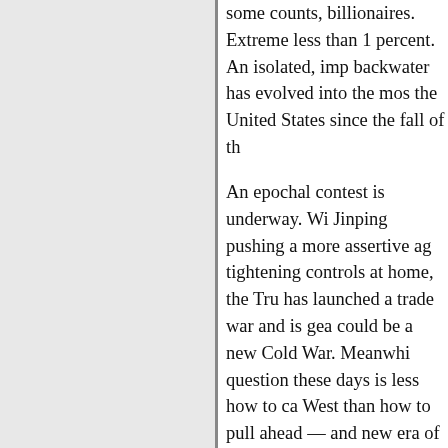some counts, billionaires. Extreme less than 1 percent. An isolated, imp backwater has evolved into the mos the United States since the fall of th
An epochal contest is underway. Wi Jinping pushing a more assertive ag tightening controls at home, the Tru has launched a trade war and is gea could be a new Cold War. Meanwhi question these days is less how to ca West than how to pull ahead — and new era of American hostility.
The pattern is familiar to historians, challenging an established one, with complication: For decades, the Unit encouraged and aided China's rise, leaders and its people to build the m economic partnership in the world, o both nations.
During this time, eight American pr